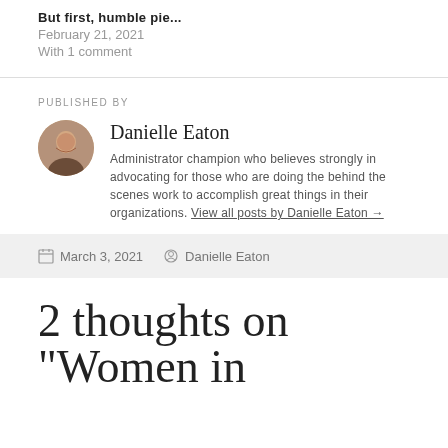But first, humble pie...
February 21, 2021
With 1 comment
PUBLISHED BY
Danielle Eaton
Administrator champion who believes strongly in advocating for those who are doing the behind the scenes work to accomplish great things in their organizations. View all posts by Danielle Eaton →
March 3, 2021   Danielle Eaton
2 thoughts on "Women in